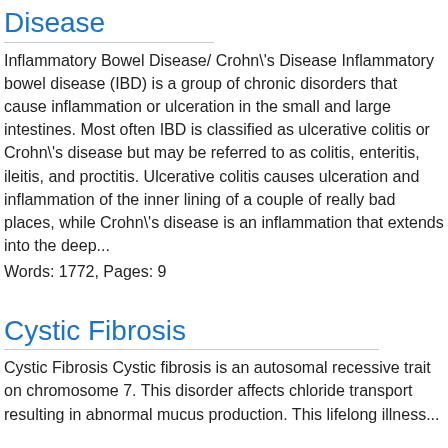Disease
Inflammatory Bowel Disease/ Crohn's Disease Inflammatory bowel disease (IBD) is a group of chronic disorders that cause inflammation or ulceration in the small and large intestines. Most often IBD is classified as ulcerative colitis or Crohn's disease but may be referred to as colitis, enteritis, ileitis, and proctitis. Ulcerative colitis causes ulceration and inflammation of the inner lining of a couple of really bad places, while Crohn's disease is an inflammation that extends into the deep...
Words: 1772, Pages: 9
Cystic Fibrosis
Cystic Fibrosis Cystic fibrosis is an autosomal recessive trait on chromosome 7. This disorder affects chloride transport resulting in abnormal mucus production. This lifelong illness...